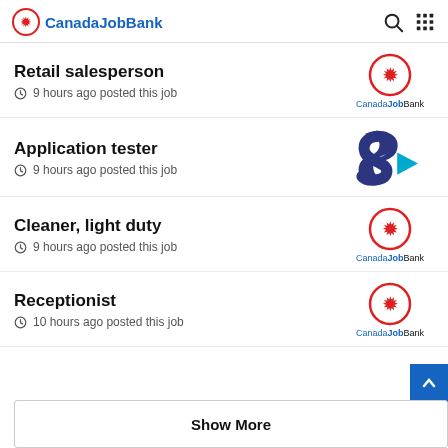CanadaJobBank
Retail salesperson
9 hours ago posted this job
[Figure (logo): CanadaJobBank logo with red maple leaf circle and blue/black text]
Application tester
9 hours ago posted this job
[Figure (logo): Dark blue stylized S letter with teal arrow pointing right - company logo]
Cleaner, light duty
9 hours ago posted this job
[Figure (logo): CanadaJobBank logo with red maple leaf circle and blue/black text]
Receptionist
10 hours ago posted this job
[Figure (logo): CanadaJobBank logo with red maple leaf circle and blue/black text]
Show More